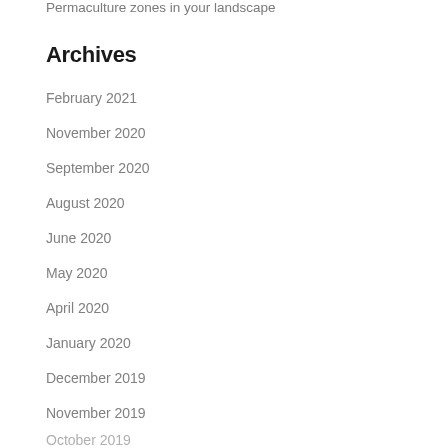Permaculture zones in your landscape
Archives
February 2021
November 2020
September 2020
August 2020
June 2020
May 2020
April 2020
January 2020
December 2019
November 2019
October 2019
September 2019